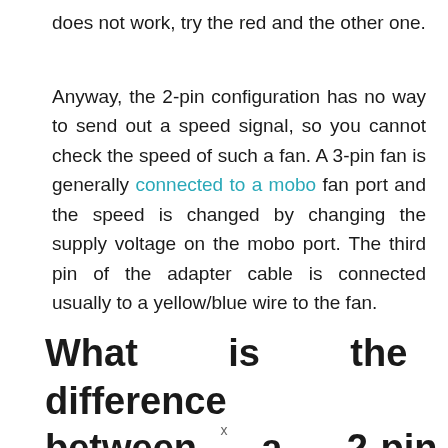does not work, try the red and the other one.
Anyway, the 2-pin configuration has no way to send out a speed signal, so you cannot check the speed of such a fan. A 3-pin fan is generally connected to a mobo fan port and the speed is changed by changing the supply voltage on the mobo port. The third pin of the adapter cable is connected usually to a yellow/blue wire to the fan.
What is the difference between a 2-pin and 3-pin
x